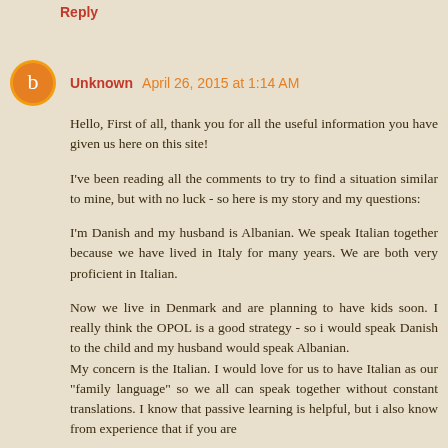Reply
Unknown April 26, 2015 at 1:14 AM
Hello, First of all, thank you for all the useful information you have given us here on this site!

I've been reading all the comments to try to find a situation similar to mine, but with no luck - so here is my story and my questions:

I'm Danish and my husband is Albanian. We speak Italian together because we have lived in Italy for many years. We are both very proficient in Italian.
Now we live in Denmark and are planning to have kids soon. I really think the OPOL is a good strategy - so i would speak Danish to the child and my husband would speak Albanian.
My concern is the Italian. I would love for us to have Italian as our "family language" so we all can speak together without constant translations. I know that passive learning is helpful, but i also know from experience that if you are